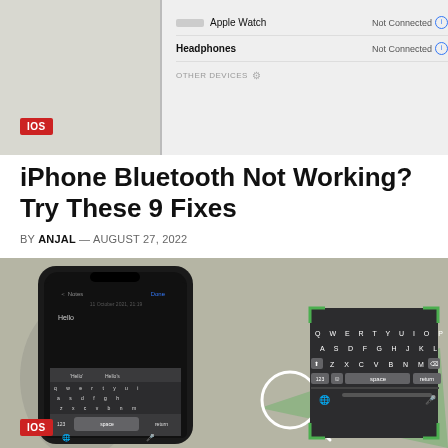[Figure (screenshot): Top portion showing iPhone Bluetooth settings screen with Apple Watch and Headphones listed as Not Connected, on a blurred background. IOS badge in red bottom-left.]
iPhone Bluetooth Not Working? Try These 9 Fixes
BY ANJAL — AUGUST 27, 2022
[Figure (screenshot): iPhone showing keyboard with green corner brackets highlighting the keyboard area, magnified detail circle, on blurred background. IOS badge in red bottom-left.]